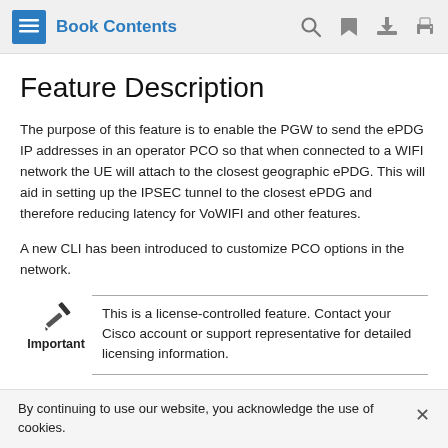Book Contents
Feature Description
The purpose of this feature is to enable the PGW to send the ePDG IP addresses in an operator PCO so that when connected to a WIFI network the UE will attach to the closest geographic ePDG. This will aid in setting up the IPSEC tunnel to the closest ePDG and therefore reducing latency for VoWIFI and other features.
A new CLI has been introduced to customize PCO options in the network.
Important
This is a license-controlled feature. Contact your Cisco account or support representative for detailed licensing information.
By continuing to use our website, you acknowledge the use of cookies.